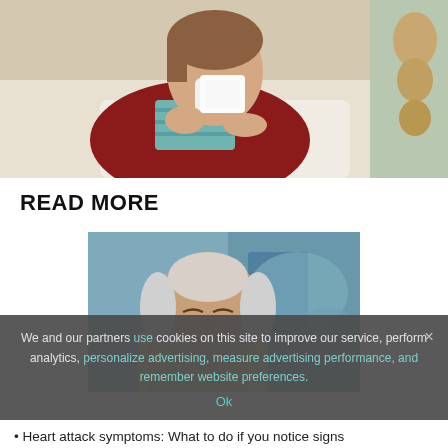[Figure (photo): Woman in red cardigan sitting in bed, holding a tissue to her face, appearing ill]
READ MORE
[Figure (photo): Older man appearing to be in pain or distress, possibly experiencing heart attack symptoms]
We and our partners use cookies on this site to improve our service, perform analytics, personalize advertising, measure advertising performance, and remember website preferences.
Heart attack symptoms: What to do if you notice signs